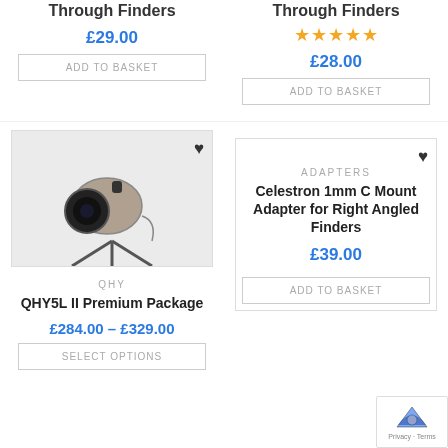Through Finders
£29.00
ADD TO BASKET
Through Finders
★★★★★
£28.00
ADD TO BASKET
[Figure (photo): QHY camera on tripod]
QHY
QHY5L II Premium Package
£284.00 – £329.00
SELECT OPTIONS
ADAPTERS
Celestron 1mm C Mount Adapter for Right Angled Finders
£39.00
ADD TO BASKET